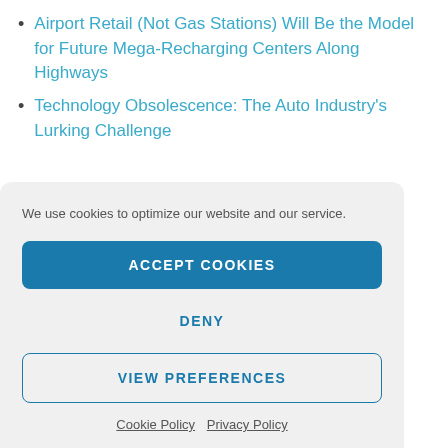Airport Retail (Not Gas Stations) Will Be the Model for Future Mega-Recharging Centers Along Highways
Technology Obsolescence: The Auto Industry's Lurking Challenge
We use cookies to optimize our website and our service.
ACCEPT COOKIES
DENY
VIEW PREFERENCES
Cookie Policy   Privacy Policy